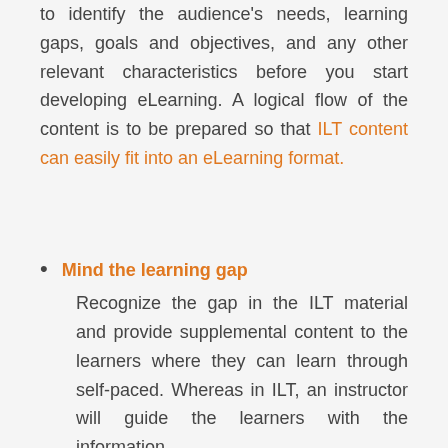to identify the audience's needs, learning gaps, goals and objectives, and any other relevant characteristics before you start developing eLearning. A logical flow of the content is to be prepared so that ILT content can easily fit into an eLearning format.
Mind the learning gap
Recognize the gap in the ILT material and provide supplemental content to the learners where they can learn through self-paced. Whereas in ILT, an instructor will guide the learners with the information